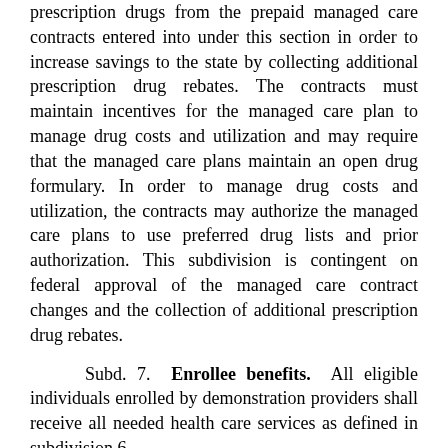prescription drugs from the prepaid managed care contracts entered into under this section in order to increase savings to the state by collecting additional prescription drug rebates. The contracts must maintain incentives for the managed care plan to manage drug costs and utilization and may require that the managed care plans maintain an open drug formulary. In order to manage drug costs and utilization, the contracts may authorize the managed care plans to use preferred drug lists and prior authorization. This subdivision is contingent on federal approval of the managed care contract changes and the collection of additional prescription drug rebates.
Subd. 7. Enrollee benefits. All eligible individuals enrolled by demonstration providers shall receive all needed health care services as defined in subdivision 6.
All enrolled individuals have the right to appeal if necessary services are not being authorized as defined in subdivision 11.
Subd. 8. Preadmission screening waiver. Except as applicable to the project's operation, the provisions of section 256B.0911 are waived for the purposes of this section for recipients enrolled with demonstration providers or in the